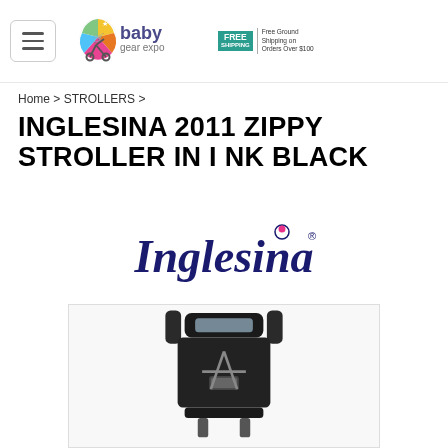[Figure (logo): Baby Gear Expo logo with stroller icon, colorful circular design, and FREE SHIPPING badge]
Home > STROLLERS >
INGLESINA 2011 ZIPPY STROLLER IN INK BLACK
[Figure (logo): Inglesina brand logo in dark blue with registered trademark symbol]
[Figure (photo): Photo of Inglesina 2011 Zippy Stroller in Ink Black, top-down view showing dark stroller with handle and canopy]